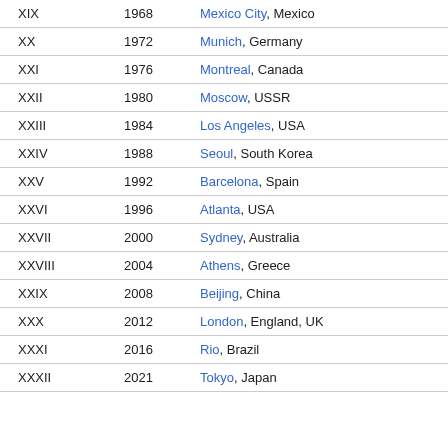| XIX | 1968 | Mexico City, Mexico |
| XX | 1972 | Munich, Germany |
| XXI | 1976 | Montreal, Canada |
| XXII | 1980 | Moscow, USSR |
| XXIII | 1984 | Los Angeles, USA |
| XXIV | 1988 | Seoul, South Korea |
| XXV | 1992 | Barcelona, Spain |
| XXVI | 1996 | Atlanta, USA |
| XXVII | 2000 | Sydney, Australia |
| XXVIII | 2004 | Athens, Greece |
| XXIX | 2008 | Beijing, China |
| XXX | 2012 | London, England, UK |
| XXXI | 2016 | Rio, Brazil |
| XXXII | 2021 | Tokyo, Japan |